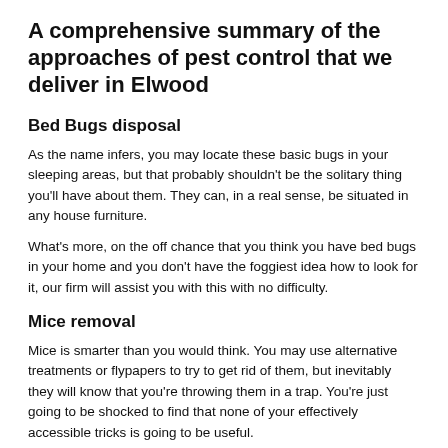A comprehensive summary of the approaches of pest control that we deliver in Elwood
Bed Bugs disposal
As the name infers, you may locate these basic bugs in your sleeping areas, but that probably shouldn't be the solitary thing you'll have about them. They can, in a real sense, be situated in any house furniture.
What's more, on the off chance that you think you have bed bugs in your home and you don't have the foggiest idea how to look for it, our firm will assist you with this with no difficulty.
Mice removal
Mice is smarter than you would think. You may use alternative treatments or flypapers to try to get rid of them, but inevitably they will know that you're throwing them in a trap. You're just going to be shocked to find that none of your effectively accessible tricks is going to be useful.